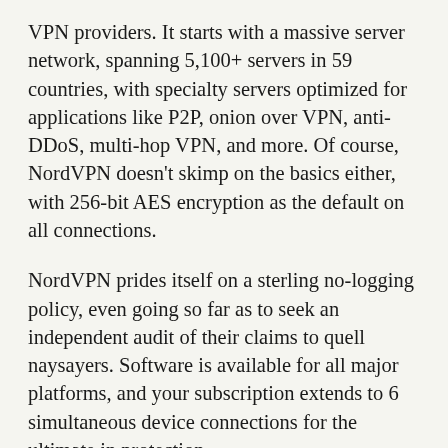VPN providers. It starts with a massive server network, spanning 5,100+ servers in 59 countries, with specialty servers optimized for applications like P2P, onion over VPN, anti-DDoS, multi-hop VPN, and more. Of course, NordVPN doesn't skimp on the basics either, with 256-bit AES encryption as the default on all connections.
NordVPN prides itself on a sterling no-logging policy, even going so far as to seek an independent audit of their claims to quell naysayers. Software is available for all major platforms, and your subscription extends to 6 simultaneous device connections for the ultimate in protection.
BEST BUDGET VPN: NordVPN is your cheapest